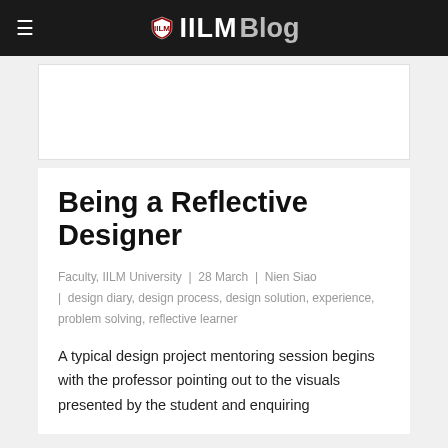≡ IILM Blog
[Figure (other): Advertisement banner area (white rectangle)]
Being a Reflective Designer
Faculty, IILM University | 28 March | Nien Siao | design diary, design process, design solution, experience, problem solving, reflective learner
A typical design project mentoring session begins with the professor pointing out to the visuals presented by the student and enquiring